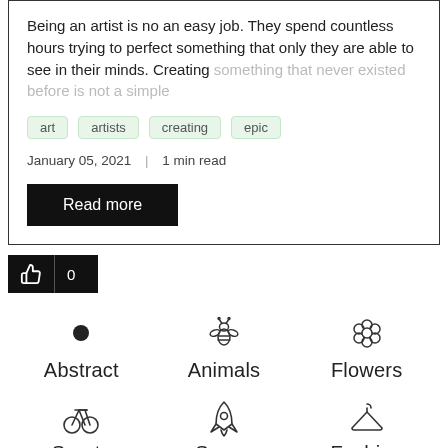Being an artist is no an easy job. They spend countless hours trying to perfect something that only they are able to see in their minds. Creating something that never existed before is not a simple
art  artists  creating  epic
January 05, 2021  |  1 min read
Read more
[Figure (other): Like button with thumbs-up icon and count 0]
[Figure (infographic): Category icons grid: Abstract (dot), Animals (bee), Flowers (flower), Sports (bicycle), Space (rocket), Fashion (hanger)]